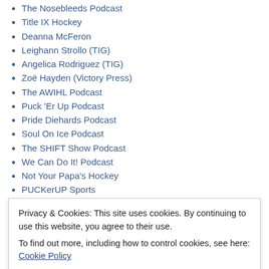The Nosebleeds Podcast
Title IX Hockey
Deanna McFeron
Leighann Strollo (TIG)
Angelica Rodriguez (TIG)
Zoë Hayden (Victory Press)
The AWIHL Podcast
Puck 'Er Up Podcast
Pride Diehards Podcast
Soul On Ice Podcast
The SHIFT Show Podcast
We Can Do It! Podcast
Not Your Papa's Hockey
PUCKerUP Sports
BDZ Sports
Hockey in Society
Anne Tokarski (TIG)
Gabriella Fundaro (TIG)
Privacy & Cookies: This site uses cookies. By continuing to use this website, you agree to their use. To find out more, including how to control cookies, see here: Cookie Policy
Blueshirt Banter Podcast